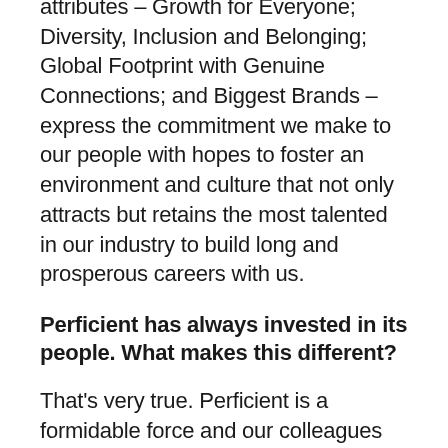attributes – Growth for Everyone; Diversity, Inclusion and Belonging; Global Footprint with Genuine Connections; and Biggest Brands – express the commitment we make to our people with hopes to foster an environment and culture that not only attracts but retains the most talented in our industry to build long and prosperous careers with us.
Perficient has always invested in its people. What makes this different?
That's very true. Perficient is a formidable force and our colleagues are always recognized as the reason behind our success, yet there are a few things